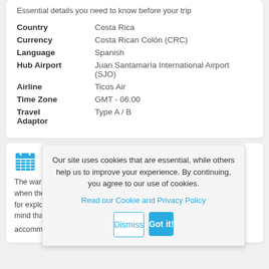Essential details you need to know before your trip
| Field | Value |
| --- | --- |
| Country | Costa Rica |
| Currency | Costa Rican Colón (CRC) |
| Language | Spanish |
| Hub Airport | Juan Santamaría International Airport (SJO) |
| Airline | Ticos Air |
| Time Zone | GMT - 06:00 |
| Travel Adaptor | Type A / B |
Bes...
The warm... when the a... for explori... mind that t... accommodation gets booked up months in advance and
Our site uses cookies that are essential, while others help us to improve your experience. By continuing, you agree to our use of cookies.
Read our Cookie and Privacy Policy
Dismiss
Got it!